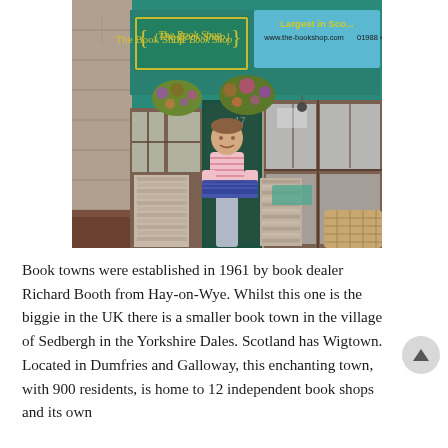[Figure (photo): A man in a pink striped polo shirt stands in front of 'The Book Shop', holding books. The shop has a green facade with yellow signage reading 'The Book Shop' and 'Largest in Sco... www.the-bookshop.com 01988 4024'. Stacks of books are piled outside the entrance. Hanging flower baskets decorate the shopfront.]
Book towns were established in 1961 by book dealer Richard Booth from Hay-on-Wye. Whilst this one is the biggie in the UK there is a smaller book town in the village of Sedbergh in the Yorkshire Dales. Scotland has Wigtown. Located in Dumfries and Galloway, this enchanting town, with 900 residents, is home to 12 independent book shops and its own